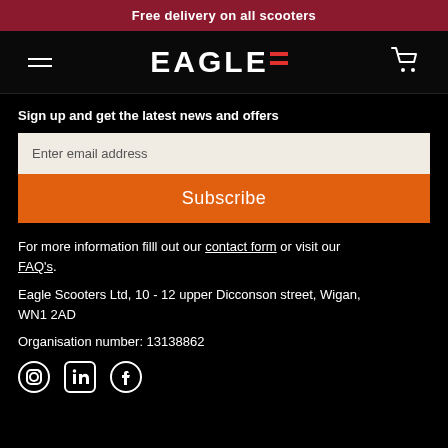Free delivery on all scooters
[Figure (logo): Eagle Scooters logo with hamburger menu and cart icon on black background]
Sign up and get the latest news and offers
Enter email address
Subscribe
For more information filll out our contact form or visit our FAQ's.
Eagle Scooters Ltd, 10 - 12 upper Dicconson street, Wigan, WN1 2AD
Organisation number: 13138862
[Figure (illustration): Social media icons: Instagram, LinkedIn, Facebook]